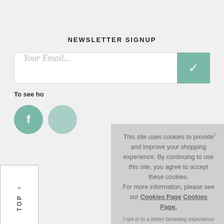NEWSLETTER SIGNUP
Your Email...
To see ho
[Figure (screenshot): Social media icons (Facebook and one other) as teal/green circles]
< TOP
This site uses cookies to provide and improve your shopping experience. By continuing to use this site, you agree to accept these cookies. For more information, please see our Cookies Page Cookies Page.
I opt-in to a better browsing experience
ACCEPT COOKIES